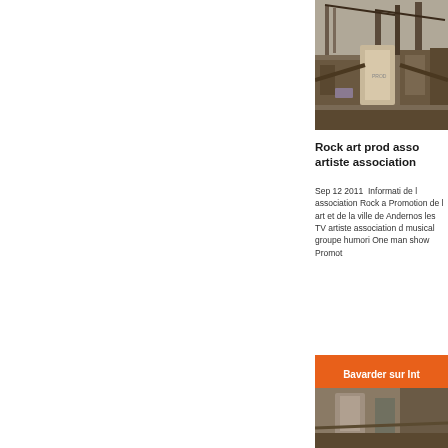[Figure (photo): Industrial machinery or quarry equipment with cranes and structures, partially cropped on the right side of the page top]
Rock art prod asso artiste association
Sep 12 2011  Informati de l association Rock a Promotion de l art et de la ville de Andernos les TV artiste association d musical groupe humori One man show Promot
Bavarder sur Int
[Figure (photo): Industrial equipment or machinery, partially visible at bottom right of page]